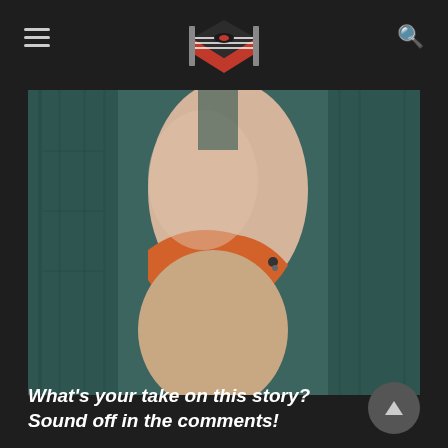[Wrestling site logo and navigation]
[Figure (photo): Close-up photo of a person in an orange wrestling/athletic garment against a dark teal wooden background]
What's your take on this story? Sound off in the comments!